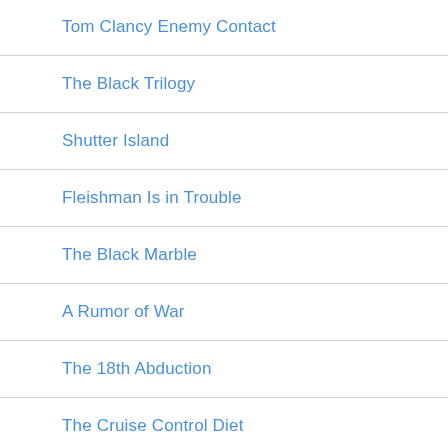She Lies in Wait
Tom Clancy Enemy Contact
The Black Trilogy
Shutter Island
Fleishman Is in Trouble
The Black Marble
A Rumor of War
The 18th Abduction
The Cruise Control Diet
Blood Relations